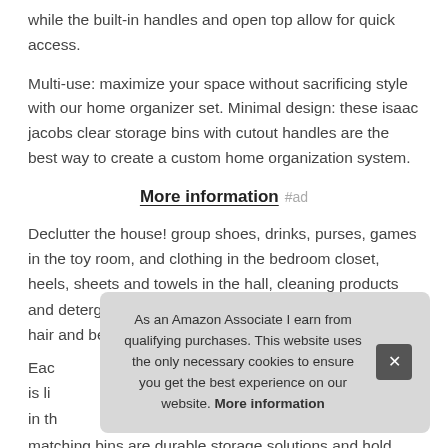while the built-in handles and open top allow for quick access.
Multi-use: maximize your space without sacrificing style with our home organizer set. Minimal design: these isaac jacobs clear storage bins with cutout handles are the best way to create a custom home organization system.
More information #ad
Declutter the house! group shoes, drinks, purses, games in the toy room, and clothing in the bedroom closet, heels, sheets and towels in the hall, cleaning products and detergents in the laundry room, party supplies, and hair and beauty supplies in the
Eac is li in th
matching bins are durable storage solutions and hold your
As an Amazon Associate I earn from qualifying purchases. This website uses the only necessary cookies to ensure you get the best experience on our website. More information